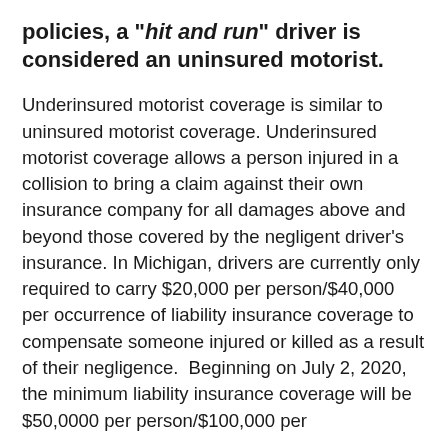policies, a "hit and run" driver is considered an uninsured motorist.
Underinsured motorist coverage is similar to uninsured motorist coverage. Underinsured motorist coverage allows a person injured in a collision to bring a claim against their own insurance company for all damages above and beyond those covered by the negligent driver's insurance. In Michigan, drivers are currently only required to carry $20,000 per person/$40,000 per occurrence of liability insurance coverage to compensate someone injured or killed as a result of their negligence. Beginning on July 2, 2020, the minimum liability insurance coverage will be $50,0000 per person/$100,000 per